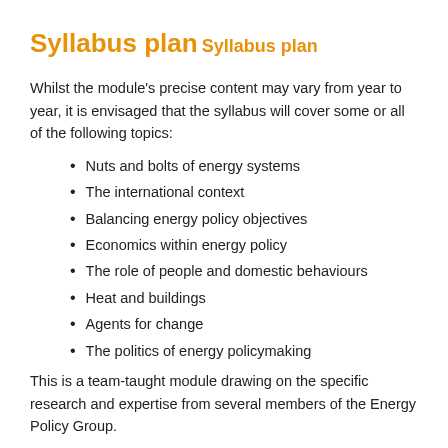Syllabus plan
Syllabus plan
Whilst the module's precise content may vary from year to year, it is envisaged that the syllabus will cover some or all of the following topics:
Nuts and bolts of energy systems
The international context
Balancing energy policy objectives
Economics within energy policy
The role of people and domestic behaviours
Heat and buildings
Agents for change
The politics of energy policymaking
This is a team-taught module drawing on the specific research and expertise from several members of the Energy Policy Group.
Learning and teaching